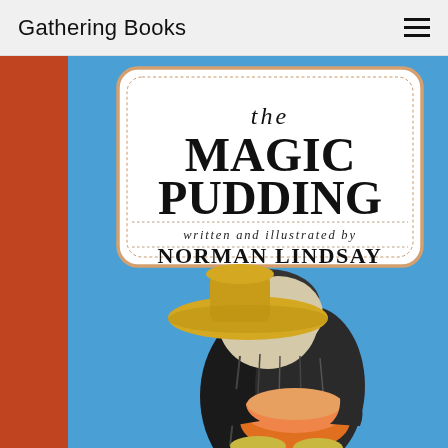Gathering Books
[Figure (illustration): Book cover of 'The Magic Pudding' written and illustrated by Norman Lindsay. Blue background with a red spine on the left. A white rounded-rectangle title box in the upper center reads 'the MAGIC PUDDING written and illustrated by NORMAN LINDSAY'. Below the title box is an illustration of a character (possibly a koala or bear) wearing a large hat and holding what appears to be a pudding, rendered in black, white, yellow and orange tones.]